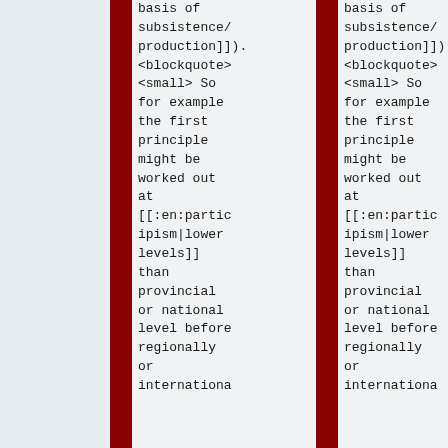basis of subsistence/production</font>]]).  <blockquote><small> So for example the first principle might be worked out at [[:en:participism|lower levels]] than provincial or national level before regionally or internationa
basis of subsistence/production</font>]]).  <blockquote><small> So for example the first principle might be worked out at [[:en:participism|lower levels]] than provincial or national level before regionally or internationa